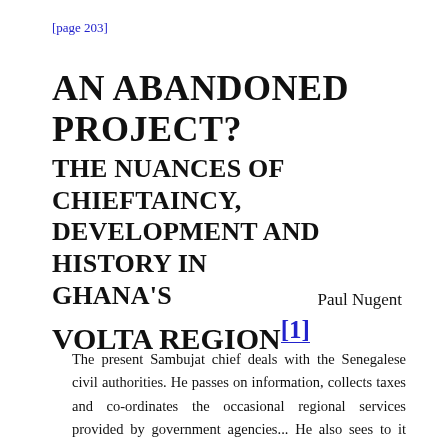[page 203]
AN ABANDONED PROJECT? THE NUANCES OF CHIEFTAINCY, DEVELOPMENT AND HISTORY IN GHANA'S VOLTA REGION[1]
Paul Nugent
The present Sambujat chief deals with the Senegalese civil authorities. He passes on information, collects taxes and co-ordinates the occasional regional services provided by government agencies... He also sees to it that villagers inscribe their children in school. During the last decades as the Senegalese State attempts to bring extension